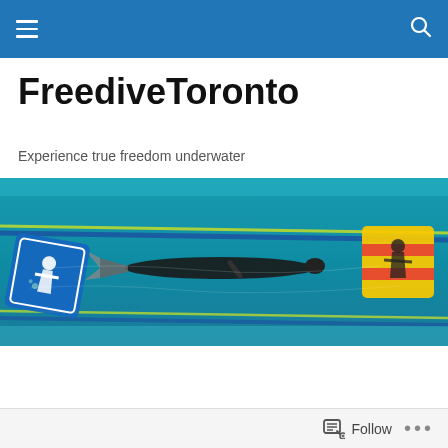FreediveToronto navigation bar
FreediveToronto
Experience true freedom underwater
[Figure (photo): Underwater photo of a freediver swimming horizontally in a pool, wearing a monofin and wetsuit. Blue pool water with lane ropes visible. Freediving logos/signs visible on left and right sides.]
Constitution
1. The name of the association is Freedive Toronto...
Follow  •••